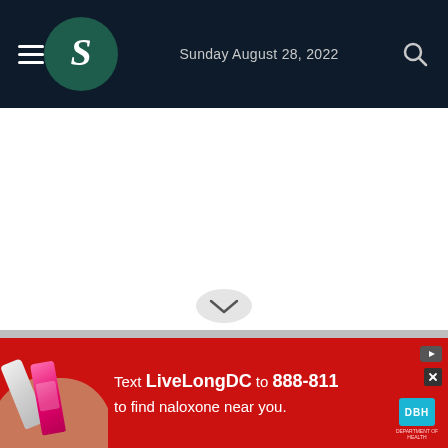Sunday August 28, 2022
[Figure (screenshot): White content area — main body of the webpage, empty/loading]
[Figure (infographic): Advertisement banner: red background with nail polish product image on left, text 'Text LiveLongDC to 888-811 to find naloxone near you.' with DBH logo on right]